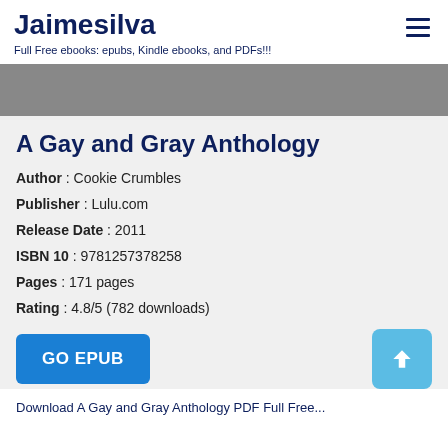Jaimesilva
Full Free ebooks: epubs, Kindle ebooks, and PDFs!!!
[Figure (other): Gray banner/advertisement area]
A Gay and Gray Anthology
Author : Cookie Crumbles
Publisher : Lulu.com
Release Date : 2011
ISBN 10 : 9781257378258
Pages : 171 pages
Rating : 4.8/5 (782 downloads)
GO EPUB
Download A Gay and Gray Anthology PDF Full Free...